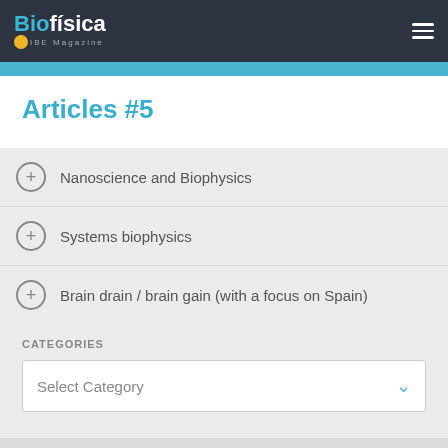Biofísica IBE Magazine
Articles #5
Nanoscience and Biophysics
Systems biophysics
Brain drain / brain gain (with a focus on Spain)
CATEGORIES
Select Category